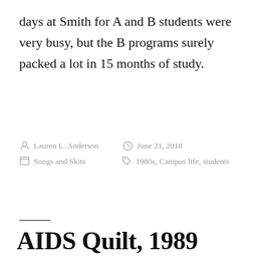days at Smith for A and B students were very busy, but the B programs surely packed a lot in 15 months of study.
By Lauren L. Anderson · June 21, 2018 · Songs and Skits · 1980s, Campus life, students
AIDS Quilt, 1989